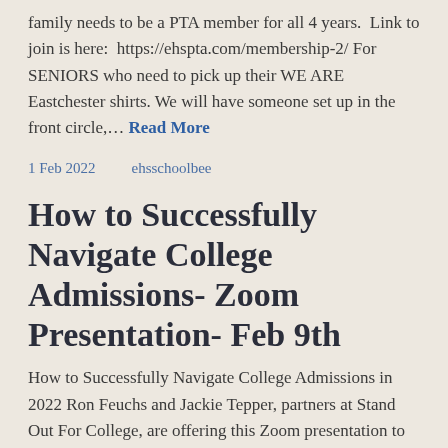family needs to be a PTA member for all 4 years.  Link to join is here:  https://ehspta.com/membership-2/ For SENIORS who need to pick up their WE ARE Eastchester shirts. We will have someone set up in the front circle,… Read More
1 Feb 2022    ehsschoolbee
How to Successfully Navigate College Admissions- Zoom Presentation- Feb 9th
How to Successfully Navigate College Admissions in 2022 Ron Feuchs and Jackie Tepper, partners at Stand Out For College, are offering this Zoom presentation to help families understand how COVID has changed the college admissions landscape and how it affects